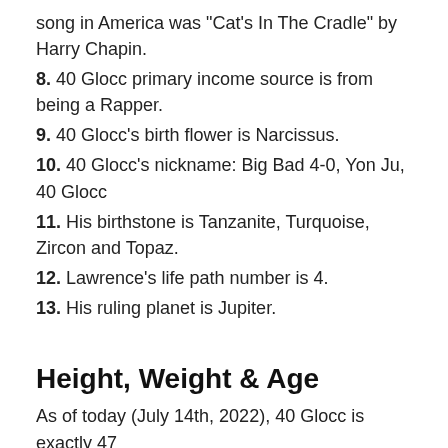song in America was "Cat's In The Cradle" by Harry Chapin.
8. 40 Glocc primary income source is from being a Rapper.
9. 40 Glocc's birth flower is Narcissus.
10. 40 Glocc's nickname: Big Bad 4-0, Yon Ju, 40 Glocc
11. His birthstone is Tanzanite, Turquoise, Zircon and Topaz.
12. Lawrence's life path number is 4.
13. His ruling planet is Jupiter.
Height, Weight & Age
As of today (July 14th, 2022), 40 Glocc is exactly 47